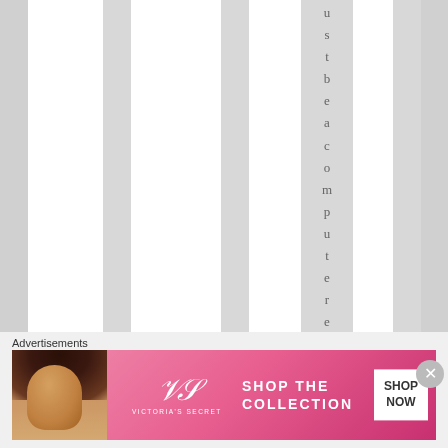u s t b e a c o m p u t e r e r r o
Advertisements
[Figure (photo): Victoria's Secret advertisement banner showing a model with curly hair, the Victoria's Secret logo, text 'SHOP THE COLLECTION', and a 'SHOP NOW' button on a pink gradient background]